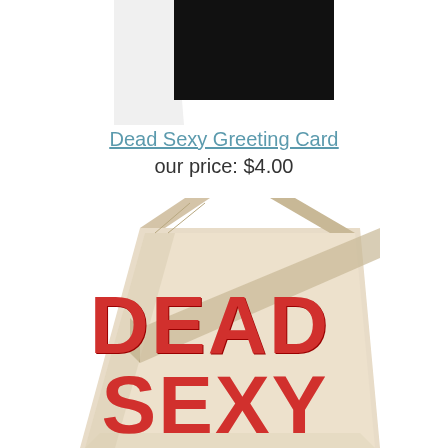[Figure (photo): Partial view of a greeting card product thumbnail with black rectangle/graphic at top center]
Dead Sexy Greeting Card
our price: $4.00
[Figure (photo): A beige/natural canvas tote bag with 'DEAD SEXY' printed in large red distressed lettering on the front, shown at an angle with the strap visible]